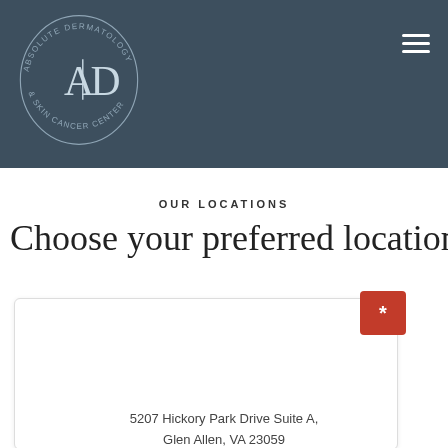[Figure (logo): Absolute Dermatology & Skin Cancer Center circular logo with A|D monogram on dark blue-grey header background]
OUR LOCATIONS
Choose your preferred location
5207 Hickory Park Drive Suite A, Glen Allen, VA 23059